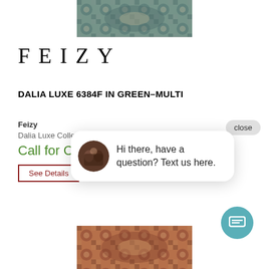[Figure (photo): Top portion of a Feizy rug with green-grey tones and ornate pattern]
FEIZY
DALIA LUXE 6384F IN GREEN-MULTI
Feizy
Dalia Luxe Colle...
Call for C...
See Details
[Figure (screenshot): Chat widget popup with avatar photo of two people and message: Hi there, have a question? Text us here.]
close
[Figure (photo): Bottom portion of a Feizy rug with warm reddish-orange tones and ornate pattern]